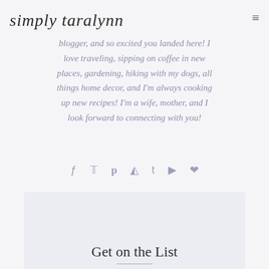simply taralynn
blogger, and so excited you landed here! I love traveling, sipping on coffee in new places, gardening, hiking with my dogs, all things home decor, and I'm always cooking up new recipes! I'm a wife, mother, and I look forward to connecting with you!
[Figure (infographic): Row of social media icons: Facebook, Twitter, Pinterest, Instagram, Tumblr, YouTube, heart/Bloglovin]
Get on the List